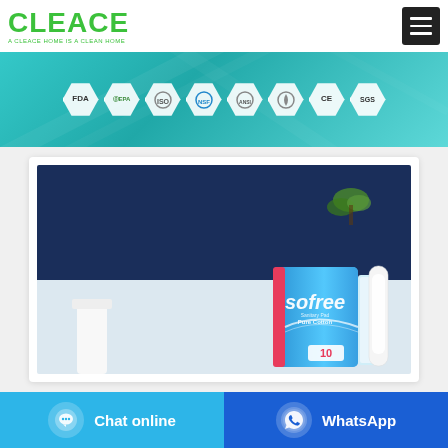[Figure (logo): CLEACE brand logo in green with tagline 'A CLEACE HOME IS A CLEAN HOME']
[Figure (infographic): Teal banner with certification badges: FDA, EPA, and 6 other certification icons]
[Figure (photo): Product photo of 'sofree' Sanitary Pad Pure Cotton package (10 count) on a white table with dark blue background and white vase with flowers]
Chat online
WhatsApp